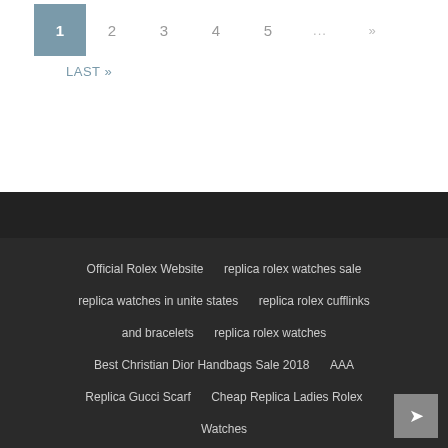1 2 3 4 5 ... » LAST »
Official Rolex Website | replica rolex watches sale | replica watches in unite states | replica rolex cufflinks and bracelets | replica rolex watches | Best Christian Dior Handbags Sale 2018 | AAA Replica Gucci Scarf | Cheap Replica Ladies Rolex Watches